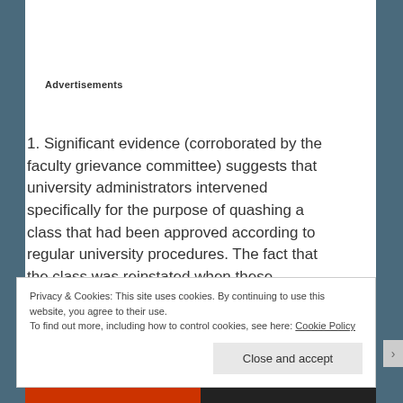Advertisements
1. Significant evidence (corroborated by the faculty grievance committee) suggests that university administrators intervened specifically for the purpose of quashing a class that had been approved according to regular university procedures. The fact that the class was reinstated when these administrative actions were exposed does nothing to alter this disturbing fact.
Privacy & Cookies: This site uses cookies. By continuing to use this website, you agree to their use.
To find out more, including how to control cookies, see here: Cookie Policy
Close and accept